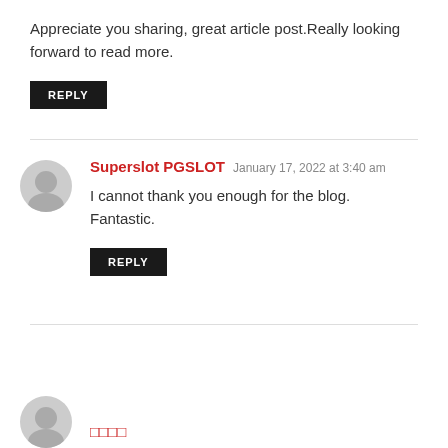Appreciate you sharing, great article post.Really looking forward to read more.
REPLY
Superslot PGSLOT  January 17, 2022 at 3:40 am
I cannot thank you enough for the blog. Fantastic.
REPLY
…